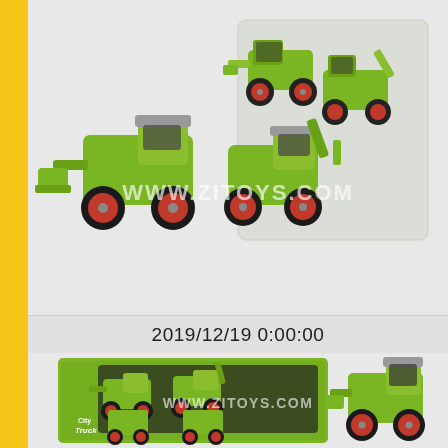[Figure (photo): Green toy construction vehicles (front loader/bulldozer style) displayed loose and in a plastic bag packaging, with red wheels and gray details. Watermark: WWW.ZITOYS.COM]
2019/12/19 0:00:00
[Figure (photo): Green toy construction vehicle set (City Truck brand) shown in green retail box packaging with 4 vehicles, plus a single assembled front loader toy to the right. Watermark: WWW.ZITOYS.COM]